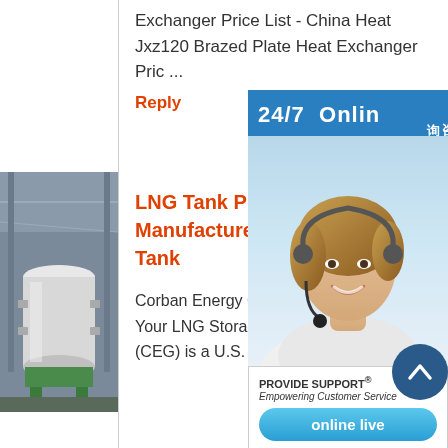Exchanger Price List - China Heat Jxz120 Brazed Plate Heat Exchanger Pric ...
Reply
[Figure (photo): Industrial LNG storage tank in a warehouse, white cylindrical vessel with green base]
LNG Tank Professional Manufacturer LNG Storage Tank
Corban Energy Group – Solutions for All Your LNG Storage Corban Energy Group (CEG) is a U.S. bas ...
[Figure (infographic): 24/7 Online support widget with photo of customer service representative wearing headset, PROVIDE SUPPORT logo, and online live button. Chinese text sidebar reads 在线咨询 (Online Consultation).]